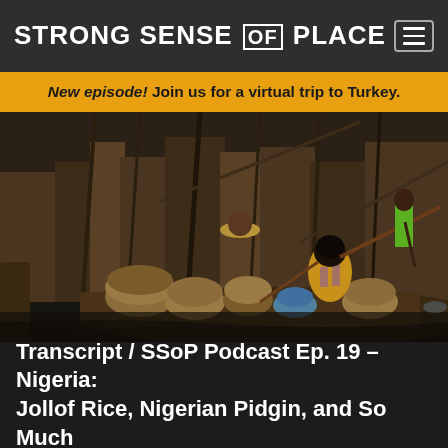STRONG SENSE OF PLACE
New episode! Join us for a virtual trip to Turkey.
[Figure (photo): A woman in a colorful yellow and purple dress rows a wooden boat filled with woven baskets through a water market. In the background, a boy in a green shirt stands on another narrow boat, and a crowded waterside slum with wooden structures is visible behind them.]
Transcript / SSoP Podcast Ep. 19 – Nigeria: Jollof Rice, Nigerian Pidgin, and So Much